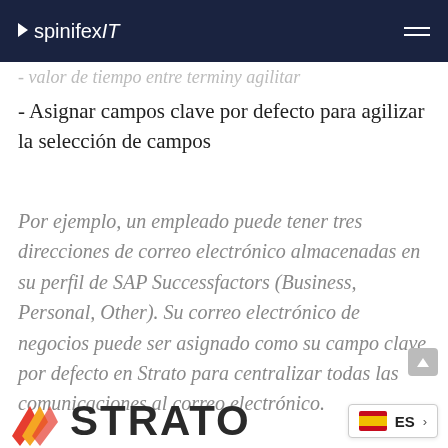spinifexIT
- valor de tiempo entre terminy agilitar
- Asignar campos clave por defecto para agilizar la selección de campos
Por ejemplo, un empleado puede tener tres direcciones de correo electrónico almacenadas en su perfil de SAP Successfactors (Business, Personal, Other). Su correo electrónico de negocios puede ser asignado como su campo clave por defecto en Strato para centralizar todas las comunicaciones al correo electrónico.
[Figure (logo): STRATO logo with colored arrow icon and wordmark]
[Figure (other): Language selector showing Spanish flag and ES label with chevron]